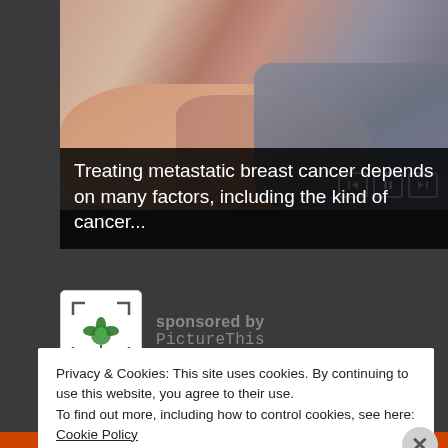[Figure (photo): Photo of two people's hands clasped together on a table, suggesting a comforting or medical consultation scene. Media player controls (back, pause, forward) visible in lower right corner of image.]
Treating metastatic breast cancer depends on many factors, including the kind of cancer...
sponsored by
PictureThis
Privacy & Cookies: This site uses cookies. By continuing to use this website, you agree to their use.
To find out more, including how to control cookies, see here: Cookie Policy
Close and accept